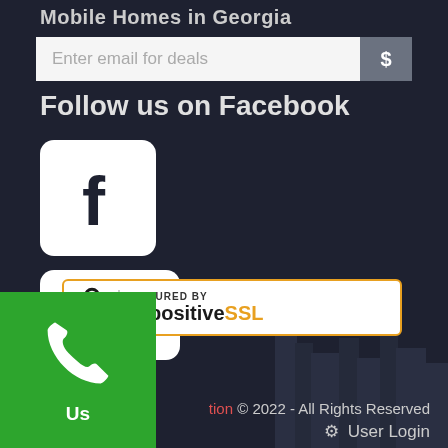Mobile Homes in Georgia
Enter email for deals
Follow us on Facebook
[Figure (logo): Facebook logo icon - white rounded square with dark 'f' letter]
[Figure (logo): YouTube logo icon - white rounded rectangle with play triangle]
[Figure (logo): Secured by PositiveSSL badge with lock icon, orange border]
[Figure (logo): Green phone call button with white phone icon]
Us
tion © 2022 - All Rights Reserved
⚙ User Login